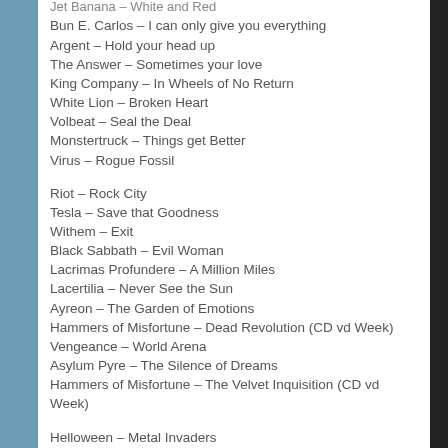Jet Banana – White and Red
Bun E. Carlos – I can only give you everything
Argent – Hold your head up
The Answer – Sometimes your love
King Company – In Wheels of No Return
White Lion – Broken Heart
Volbeat – Seal the Deal
Monstertruck – Things get Better
Virus – Rogue Fossil
Riot – Rock City
Tesla – Save that Goodness
Withem – Exit
Black Sabbath – Evil Woman
Lacrimas Profundere – A Million Miles
Lacertilia – Never See the Sun
Ayreon – The Garden of Emotions
Hammers of Misfortune – Dead Revolution (CD vd Week)
Vengeance – World Arena
Asylum Pyre – The Silence of Dreams
Hammers of Misfortune – The Velvet Inquisition (CD vd Week)
Helloween – Metal Invaders
Eerie – Immortal Rot
Sad Iron – Powerthrash
Anvil – Straight Between the Eyes
Denner/Shermann – Escape from Hell
Helhorse – The Blood Boiler
Stitched up heart – Finally Free
Slayer – Epidemic
Dust Bolt – Turned to Grey
Deadlock – Berserk